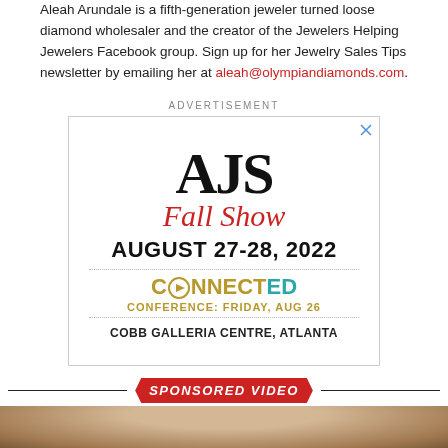Aleah Arundale is a fifth-generation jeweler turned loose diamond wholesaler and the creator of the Jewelers Helping Jewelers Facebook group. Sign up for her Jewelry Sales Tips newsletter by emailing her at aleah@olympiandiamonds.com.
ADVERTISEMENT
[Figure (other): AJS Fall Show advertisement banner. Large serif AJS logo, red cursive 'Fall Show' text, bold 'AUGUST 27-28, 2022', dotted divider, 'CONNECTED' text (gold and teal), dotted divider, 'CONFERENCE: FRIDAY, AUG 26' in gold, 'COBB GALLERIA CENTRE, ATLANTA' in bold black.]
SPONSORED VIDEO
[Figure (photo): Bottom portion of a photograph, showing what appears to be a person, cropped at the very bottom of the page.]